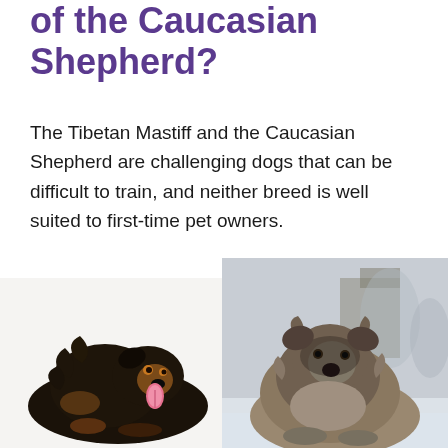of the Caucasian Shepherd?
The Tibetan Mastiff and the Caucasian Shepherd are challenging dogs that can be difficult to train, and neither breed is well suited to first-time pet owners.
[Figure (photo): Two large dog breeds side by side. Left: a Tibetan Mastiff with thick black and tan fur, lying down with tongue out on white background. Right: a Caucasian Shepherd with dense gray and tan fur, sitting in a snowy outdoor setting.]